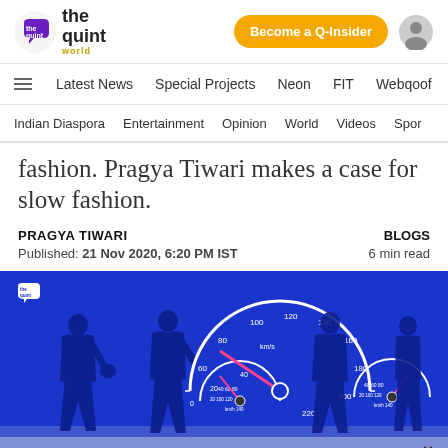[Figure (logo): The Quint World logo with speech bubble icon]
Become a Q-Insider
Latest News | Special Projects | Neon | FIT | Webqoof
Indian Diaspora | Entertainment | Opinion | World | Videos | Spor
fashion. Pragya Tiwari makes a case for slow fashion.
PRAGYA TIWARI
Published: 21 Nov 2020, 6:20 PM IST
BLOGS
6 min read
[Figure (illustration): Blue background illustration showing silhouettes of women walking with speedometers overlaid, The Quint logo in white at top left. A close (X) button appears at the bottom right corner.]